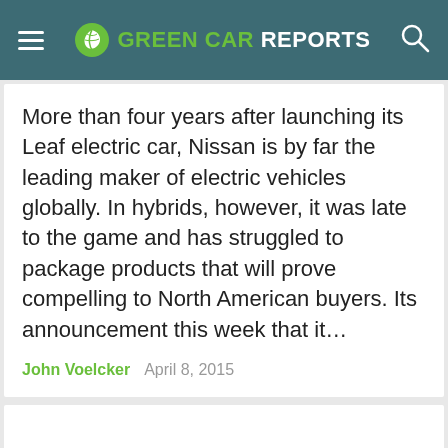GREEN CAR REPORTS
More than four years after launching its Leaf electric car, Nissan is by far the leading maker of electric vehicles globally. In hybrids, however, it was late to the game and has struggled to package products that will prove compelling to North American buyers. Its announcement this week that it…
John Voelcker   April 8, 2015